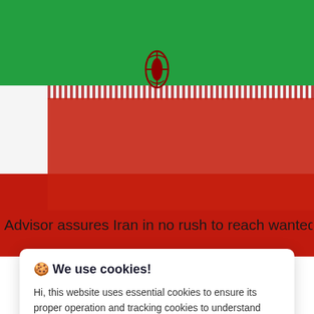[Figure (photo): Partial view of the Iranian flag showing green, white, and red horizontal stripes with the Islamic Republic emblem and decorative script at the borders of the stripes. Red portion fills lower half of image.]
Advisor assures Iran in no rush to reach wanted
🍪 We use cookies!
Hi, this website uses essential cookies to ensure its proper operation and tracking cookies to understand how you interact with it. The latter will be set only after consent. Let me choose
Accept all
Reject all